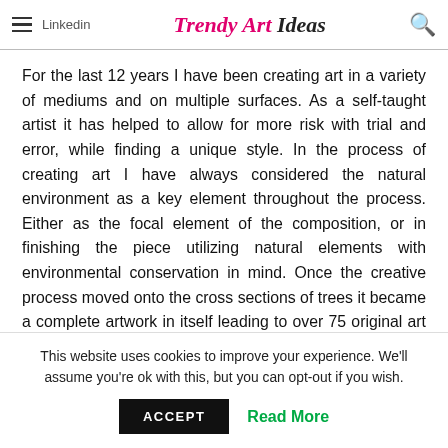Trendy Art Ideas
For the last 12 years I have been creating art in a variety of mediums and on multiple surfaces. As a self-taught artist it has helped to allow for more risk with trial and error, while finding a unique style. In the process of creating art I have always considered the natural environment as a key element throughout the process. Either as the focal element of the composition, or in finishing the piece utilizing natural elements with environmental conservation in mind. Once the creative process moved onto the cross sections of trees it became a complete artwork in itself leading to over 75 original art pieces. The entire collection is now captured within an e-book,
This website uses cookies to improve your experience. We'll assume you're ok with this, but you can opt-out if you wish.
ACCEPT  Read More